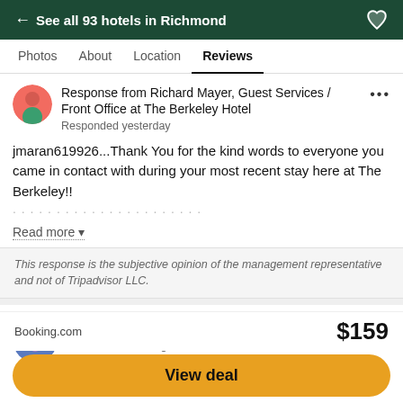← See all 93 hotels in Richmond
Photos  About  Location  Reviews
Response from Richard Mayer, Guest Services / Front Office at The Berkeley Hotel
Responded yesterday
jmaran619926...Thank You for the kind words to everyone you came in contact with during your most recent stay here at The Berkeley!!
Read more
This response is the subjective opinion of the management representative and not of Tripadvisor LLC.
JayFKDC
wrote a review Aug 8
Washington, District of Columbia, United States
Booking.com  $159
View deal